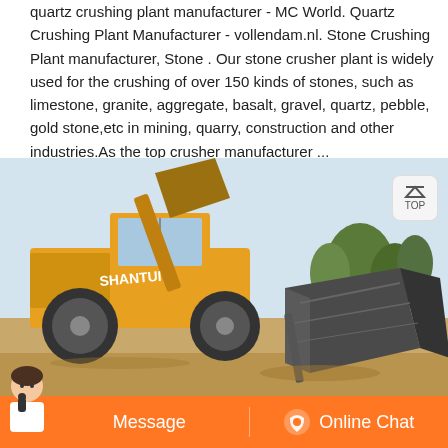quartz crushing plant manufacturer - MC World. Quartz Crushing Plant Manufacturer - vollendam.nl. Stone Crushing Plant manufacturer, Stone . Our stone crusher plant is widely used for the crushing of over 150 kinds of stones, such as limestone, granite, aggregate, basalt, gravel, quartz, pebble, gold stone,etc in mining, quarry, construction and other industries.As the top crusher manufacturer ...
[Figure (photo): A yellow SHANTUI wheel loader lifting or interacting with a large dark grey metal crusher box/container on bare dirt ground, with trees visible in the background under a pale sky.]